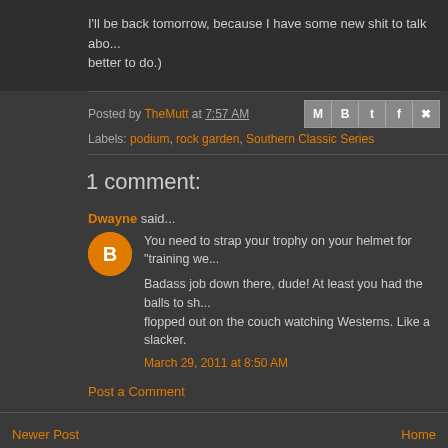I'll be back tomorrow, because I have some new shit to talk about. (Or nothing better to do.)
Posted by TheMutt at 7:57 AM
Labels: podium, rock garden, Southern Classic Series
1 comment:
Dwayne said...
You need to strap your trophy on your helmet for "training we...
Badass job down there, dude! At least you had the balls to sh... flopped out on the couch watching Westerns. Like a slacker.
March 29, 2011 at 8:50 AM
Post a Comment
Newer Post
Home
Subscribe to: Post Comments (Atom)